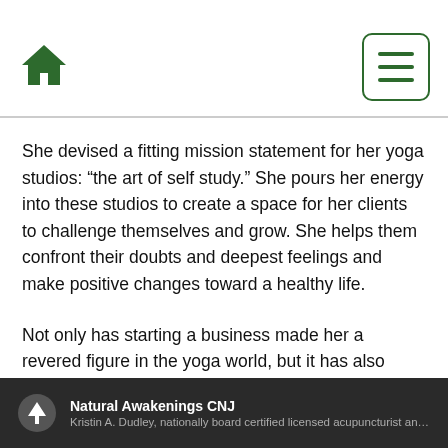Home | Menu
She devised a fitting mission statement for her yoga studios: “the art of self study.” She pours her energy into these studios to create a space for her clients to challenge themselves and grow. She helps them confront their doubts and deepest feelings and make positive changes toward a healthy life.
Not only has starting a business made her a revered figure in the yoga world, but it has also bolstered our family’s health and brought us closer together. She has become an even more empathetic and altruistic being than she already was. Her essential oils and
Natural Awakenings CNJ
Kristin A. Dudley, nationally board certified licensed acupuncturist and he...